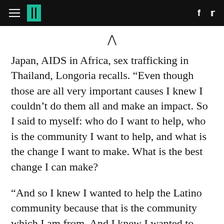HuffPost navigation header with hamburger menu, logo, Facebook and Twitter icons
Japan, AIDS in Africa, sex trafficking in Thailand, Longoria recalls. “Even though those are all very important causes I knew I couldn’t do them all and make an impact. So I said to myself: who do I want to help, who is the community I want to help, and what is the change I want to make. What is the best change I can make?
“And so I knew I wanted to help the Latino community because that is the community which I am from. And I knew I wanted to help women because I think women are multiplying factors. If you help a woman she helps her family. If she